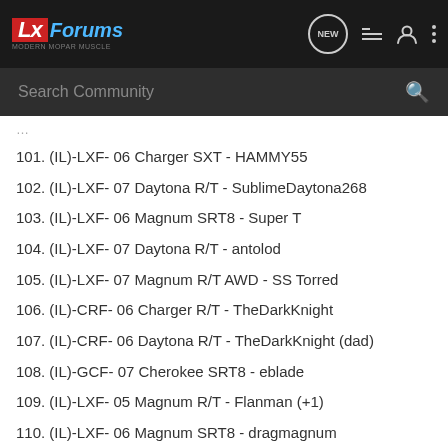LxForums - MODERN MOPAR MUSCLE
101. (IL)-LXF- 06 Charger SXT - HAMMY55
102. (IL)-LXF- 07 Daytona R/T - SublimeDaytona268
103. (IL)-LXF- 06 Magnum SRT8 - Super T
104. (IL)-LXF- 07 Daytona R/T - antolod
105. (IL)-LXF- 07 Magnum R/T AWD - SS Torred
106. (IL)-CRF- 06 Charger R/T - TheDarkKnight
107. (IL)-CRF- 06 Daytona R/T - TheDarkKnight (dad)
108. (IL)-GCF- 07 Cherokee SRT8 - eblade
109. (IL)-LXF- 05 Magnum R/T - Flanman (+1)
110. (IL)-LXF- 06 Magnum SRT8 - dragmagnum
111. (IL)-LXF- 05 Magnum R/T - Motor (+1)
112. (IL)-LXF- 05 Magnum R/T - Clint_309
113. (IL)-LXF- 05 Magnum R/T - Joepar
114. (IL)-LXF- Ricover
115. (AL)-CTF- 09 Challenger R/T - Jpw2133